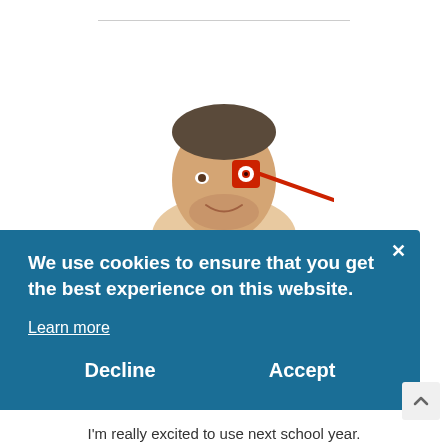[Figure (photo): A man holding a small red square camera/toy up to his eye, visible from shoulders up, smiling, on white background]
We use cookies to ensure that you get the best experience on this website.
Learn more
Decline    Accept
I'm really excited to use next school year.